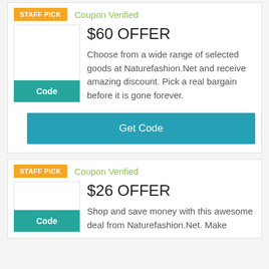STAFF PICK
Coupon Verified
$60 OFFER
Choose from a wide range of selected goods at Naturefashion.Net and receive amazing discount. Pick a real bargain before it is gone forever.
Code
Get Code
STAFF PICK
Coupon Verified
$26 OFFER
Shop and save money with this awesome deal from Naturefashion.Net. Make
Code